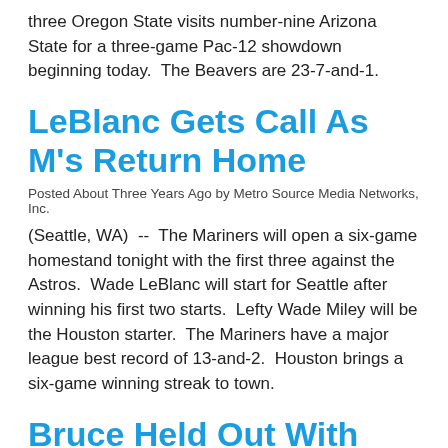three Oregon State visits number-nine Arizona State for a three-game Pac-12 showdown beginning today. The Beavers are 23-7-and-1.
LeBlanc Gets Call As M's Return Home
Posted About Three Years Ago by Metro Source Media Networks, Inc.
(Seattle, WA) -- The Mariners will open a six-game homestand tonight with the first three against the Astros. Wade LeBlanc will start for Seattle after winning his first two starts. Lefty Wade Miley will be the Houston starter. The Mariners have a major league best record of 13-and-2. Houston brings a six-game winning streak to town.
Bruce Held Out With Tender